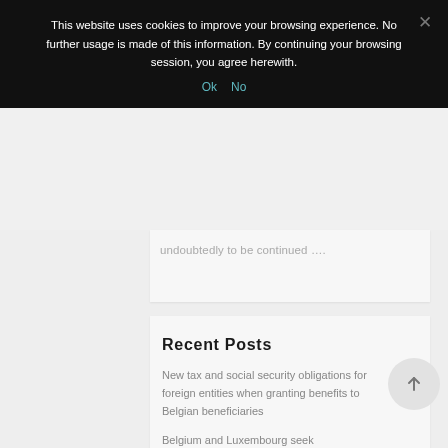This website uses cookies to improve your browsing experience. No further usage is made of this information. By continuing your browsing session, you agree herewith.
Ok   No
undoubtedly to be continued ….
Recent Posts
New tax and social security obligations for foreign entities when granting benefits to Belgian beneficiaries
Belgium and Luxembourg seek